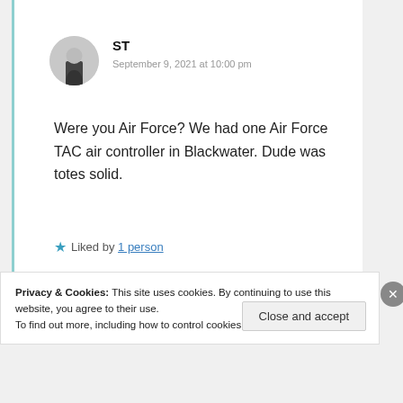[Figure (photo): Circular avatar photo of user ST, showing a person in dark clothing against a light background]
ST
September 9, 2021 at 10:00 pm
Were you Air Force? We had one Air Force TAC air controller in Blackwater. Dude was totes solid.
★ Liked by 1 person
Privacy & Cookies: This site uses cookies. By continuing to use this website, you agree to their use.
To find out more, including how to control cookies, see here: Cookie Policy
Close and accept